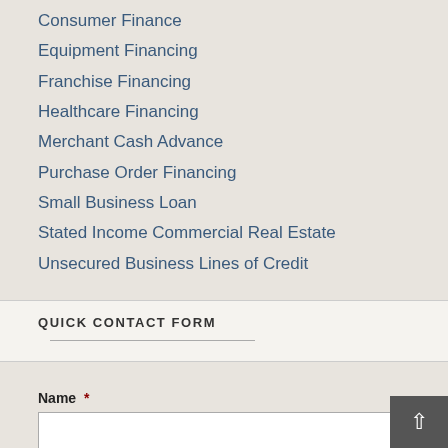Consumer Finance
Equipment Financing
Franchise Financing
Healthcare Financing
Merchant Cash Advance
Purchase Order Financing
Small Business Loan
Stated Income Commercial Real Estate
Unsecured Business Lines of Credit
QUICK CONTACT FORM
Name *
Email *